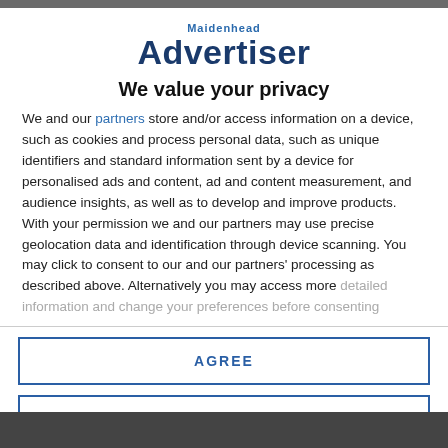[Figure (logo): Maidenhead Advertiser logo - blue text with 'Maidenhead' small above 'Advertiser' large]
We value your privacy
We and our partners store and/or access information on a device, such as cookies and process personal data, such as unique identifiers and standard information sent by a device for personalised ads and content, ad and content measurement, and audience insights, as well as to develop and improve products. With your permission we and our partners may use precise geolocation data and identification through device scanning. You may click to consent to our and our partners' processing as described above. Alternatively you may access more detailed information and change your preferences before consenting
AGREE
MORE OPTIONS